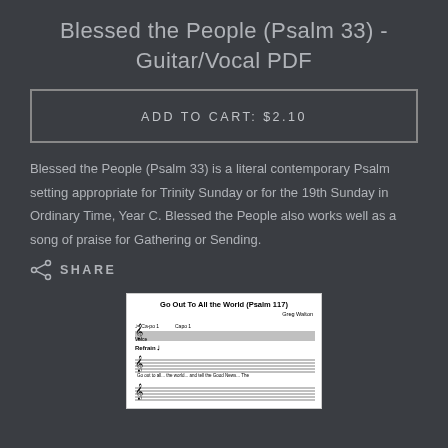Blessed the People (Psalm 33) - Guitar/Vocal PDF
ADD TO CART: $2.10
Blessed the People (Psalm 33) is a literal contemporary Psalm setting appropriate for Trinity Sunday or for the 19th Sunday in Ordinary Time, Year C. Blessed the People also works well as a song of praise for Gathering or Sending.
SHARE
[Figure (photo): Sheet music preview showing 'Go Out To All the World (Psalm 117)' with musical notation on staff lines, including a Refrain section and Voice part.]